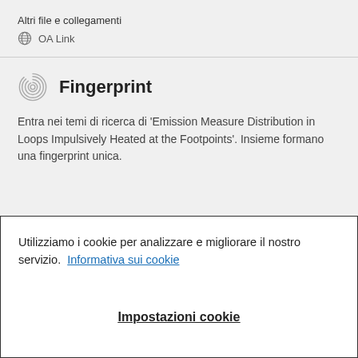Altri file e collegamenti
OA Link
Fingerprint
Entra nei temi di ricerca di 'Emission Measure Distribution in Loops Impulsively Heated at the Footpoints'. Insieme formano una fingerprint unica.
Utilizziamo i cookie per analizzare e migliorare il nostro servizio.  Informativa sui cookie
Impostazioni cookie